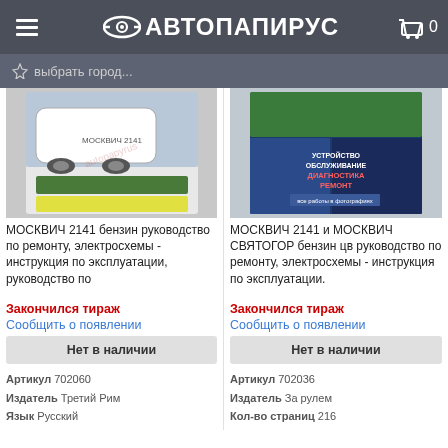АВТОПАПИРУС
выбрать город...
[Figure (photo): Book cover: МОСКВИЧ 2141 бензин руководство по ремонту]
МОСКВИЧ 2141 бензин руководство по ремонту, электросхемы - инструкция по эксплуатации, руководство по
Закончился тираж
Сообщить о появлении
Нет в наличии
Артикул 702060
Издатель Третий Рим
Язык Русский
[Figure (photo): Book cover: МОСКВИЧ 2141 и МОСКВИЧ СВЯТОГОР, устройство обслуживание диагностика ремонт]
МОСКВИЧ 2141 и МОСКВИЧ СВЯТОГОР бензин цв руководство по ремонту, электросхемы - инструкция по эксплуатации.
Закончился тираж
Сообщить о появлении
Нет в наличии
Артикул 702036
Издатель За рулем
Кол-во страниц 216